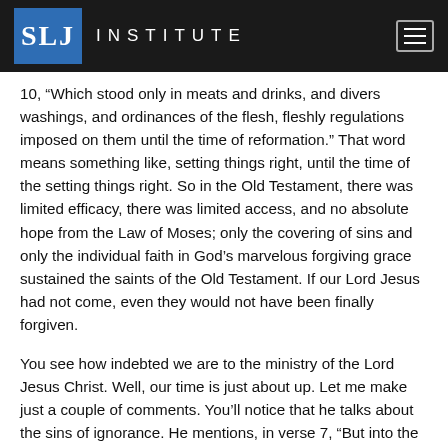SLJ INSTITUTE
10, “Which stood only in meats and drinks, and divers washings, and ordinances of the flesh, fleshly regulations imposed on them until the time of reformation.” That word means something like, setting things right, until the time of the setting things right. So in the Old Testament, there was limited efficacy, there was limited access, and no absolute hope from the Law of Moses; only the covering of sins and only the individual faith in God’s marvelous forgiving grace sustained the saints of the Old Testament. If our Lord Jesus had not come, even they would not have been finally forgiven.
You see how indebted we are to the ministry of the Lord Jesus Christ. Well, our time is just about up. Let me make just a couple of comments. You’ll notice that he talks about the sins of ignorance. He mentions, in verse 7, “But into the second went the high priest alone once every year, not without blood, which he offered for himself, and for the sins of ignorance of the people.” That’s why, incidentally, David had to plead mercy only; and grace only. His sin